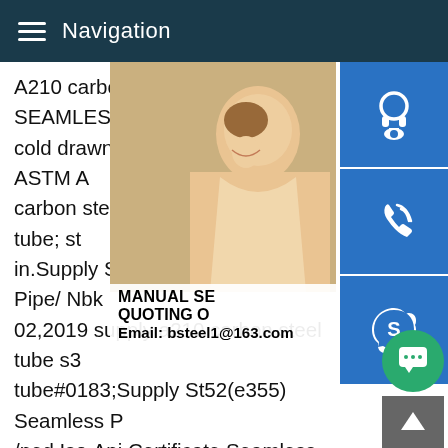Navigation
A210 carbon steel pipe; SA210 SEAMLESS cold drawn seamless steel tubes; ASTM A carbon steel tube; Seamless steel tube; st in.Supply St52(e355) Seamless Pipe/ Nbk 02,2019 supply a210 carbon steel tube s3 tube#0183;Supply St52(e355) Seamless P /ped,Iso,Api Certificate Seamless Steel Tu Seamless Pipe ,Find Complete Details ab Seamless Pipe/ Nbk(+n) /ped,Iso,Api Cert Tube Astm A210-a1 Seamless Pipe,Astm Pipe,St52(e355) Pipe,Seamless Steel Tube from Steel Pipes Supplier or Manufacturer-Liaocheng Tianrui SteelS235JR S335JR Seamless Carbon steel pipe for construction S235JR S335JR Seamless Carbon steel pipe for construction project.G Latest Price supply a210 carbon steel tube s335jr steel pipe s tubegt; Chat with supplier Description s355jr pipe en10025
[Figure (photo): Customer service representative woman with headset, smiling]
[Figure (illustration): Blue customer service icon (headset/person)]
[Figure (illustration): Blue phone/call icon]
[Figure (illustration): Blue Skype icon]
MANUAL SE... QUOTING O Email: bsteel1@163.com